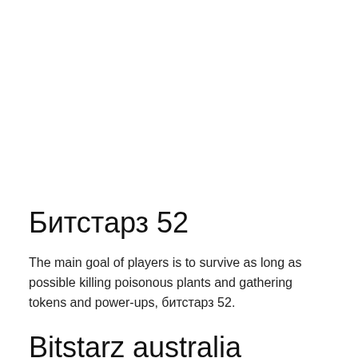Битстарз 52
The main goal of players is to survive as long as possible killing poisonous plants and gathering tokens and power-ups, битстарз 52.
Bitstarz australia review